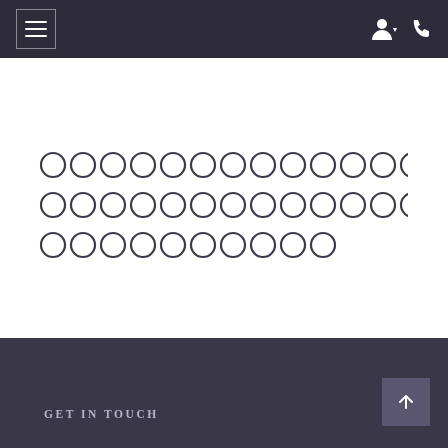Navigation bar with hamburger menu and user/phone icons
[Figure (other): Grid of 39 open circles arranged in 3 rows: row 1 has 13 circles, row 2 has 13 circles, row 3 has 10 circles, rendered as radio-button style circles with dark outline on white background]
GET IN TOUCH